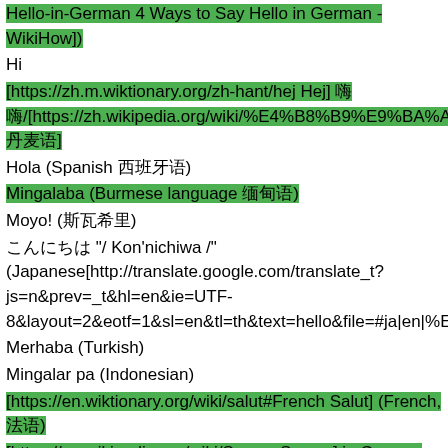Hello-in-German 4 Ways to Say Hello in German - WikiHow])
Hi
[https://zh.m.wiktionary.org/zh-hant/hej Hej] 嗨嗨/[https://zh.wikipedia.org/wiki/%E4%B8%B9%E9%BA%A6%E8%AF%AD 丹麦语]
Hola (Spanish 西班牙语)
Mingalaba (Burmese language 缅甸语)
Moyo! (斯瓦希里)
こんにちは "/ Kon'nichiwa /" (Japanese[http://translate.google.com/translate_t?js=n&prev=_t&hl=en&ie=UTF-8&layout=2&eotf=1&sl=en&tl=th&text=hello&file=#ja|en|%E3%81%93%E3%82%93%E3%81%AB%E3%81%A1%E3%82%8F])
Merhaba (Turkish)
Mingalar pa (Indonesian)
[https://en.wiktionary.org/wiki/salut#French Salut] (French, 法语)
[https://en.wikipedia.org/wiki/Servus Servus] in German
[https://en.wikipedia.org/wiki/Shalom Shalom] is a Hebrew word to mean both hello and goodbye.
Şan 5 J5% Şeser başka d#%(Hello i...